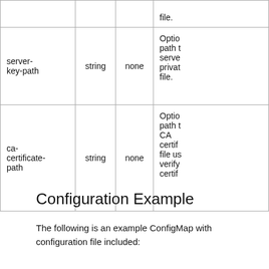|  |  |  |  |
| --- | --- | --- | --- |
|  |  |  | file. |
| server-key-path | string | none | Optio path t serve privat file. |
| ca-certificate-path | string | none | Optio path t CA certif file us verify certif |
Configuration Example
The following is an example ConfigMap with configuration file included: